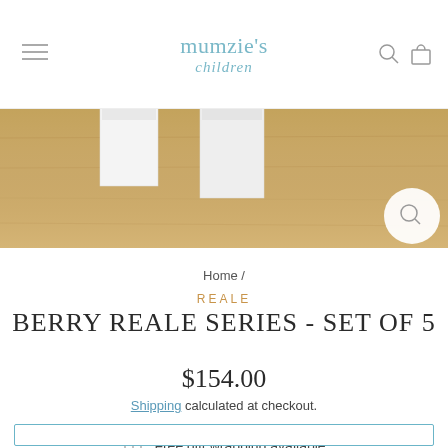mumzie's children
[Figure (photo): Partial view of product packaging boxes on a wooden surface]
Home /
REALE
BERRY REALE SERIES - SET OF 5
$154.00
Shipping calculated at checkout.
Free gift wrapping available